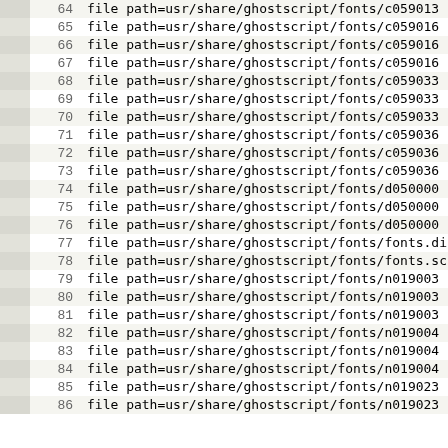|  | line | code |
| --- | --- | --- |
|  | 64 | file path=usr/share/ghostscript/fonts/c059013 |
|  | 65 | file path=usr/share/ghostscript/fonts/c059016 |
|  | 66 | file path=usr/share/ghostscript/fonts/c059016 |
|  | 67 | file path=usr/share/ghostscript/fonts/c059016 |
|  | 68 | file path=usr/share/ghostscript/fonts/c059033 |
|  | 69 | file path=usr/share/ghostscript/fonts/c059033 |
|  | 70 | file path=usr/share/ghostscript/fonts/c059033 |
|  | 71 | file path=usr/share/ghostscript/fonts/c059036 |
|  | 72 | file path=usr/share/ghostscript/fonts/c059036 |
|  | 73 | file path=usr/share/ghostscript/fonts/c059036 |
|  | 74 | file path=usr/share/ghostscript/fonts/d050000 |
|  | 75 | file path=usr/share/ghostscript/fonts/d050000 |
|  | 76 | file path=usr/share/ghostscript/fonts/d050000 |
|  | 77 | file path=usr/share/ghostscript/fonts/fonts.di |
|  | 78 | file path=usr/share/ghostscript/fonts/fonts.sc |
|  | 79 | file path=usr/share/ghostscript/fonts/n019003 |
|  | 80 | file path=usr/share/ghostscript/fonts/n019003 |
|  | 81 | file path=usr/share/ghostscript/fonts/n019003 |
|  | 82 | file path=usr/share/ghostscript/fonts/n019004 |
|  | 83 | file path=usr/share/ghostscript/fonts/n019004 |
|  | 84 | file path=usr/share/ghostscript/fonts/n019004 |
|  | 85 | file path=usr/share/ghostscript/fonts/n019023 |
|  | 86 | file path=usr/share/ghostscript/fonts/n019023 |